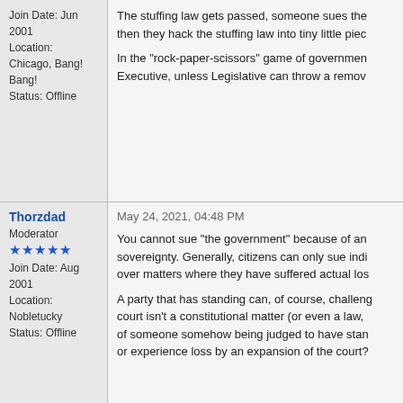Join Date: Jun 2001
Location: Chicago, Bang! Bang!
Status: Offline
The stuffing law gets passed, someone sues the... then they hack the stuffing law into tiny little pieces...

In the "rock-paper-scissors" game of government... Executive, unless Legislative can throw a remova...
Thorzdad
Moderator
★★★★★
Join Date: Aug 2001
Location: Nobletucky
Status: Offline
May 24, 2021, 04:48 PM
You cannot sue "the government" because of an... sovereignty. Generally, citizens can only sue indi... over matters where they have suffered actual los...

A party that has standing can, of course, challeng... court isn't a constitutional matter (or even a law,... of someone somehow being judged to have stan... or experience loss by an expansion of the court?